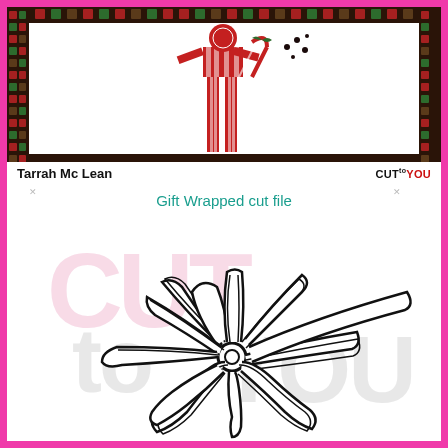[Figure (illustration): Top card showing a stylized illustration of a tall figure with red candy cane stripes, holding a candy cane, with dark floral/gift paper border around a white interior. Tarrah Mc Lean credit on left and CUTtoYOU logo on right below.]
Gift Wrapped cut file
[Figure (illustration): Black outline cut file of a decorative gift bow/ribbon on white background with light pink 'CUT to YOU' watermark text behind it.]